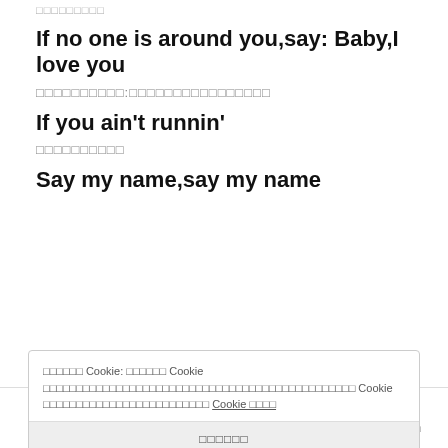□□□□□□□□□
If no one is around you,say: Baby,I love you
□□□□□□□□□□:□□□□□□□□□□□□□□□□
If you ain't runnin'
□□□□□□□□□□
Say my name,say my name
□□□□□□ Cookie: □□□□□□ Cookie □□□□□□□□□□□□□□□□□□□□□□□□□□□□□□□□□□□□□□□□□□□□□ Cookie □□□□□□□□□□□□□□□□□□□□□□□□□ Cookie □□□□
□□□□□□
□□□□  □□□  □□  □□□□  □□□□□□